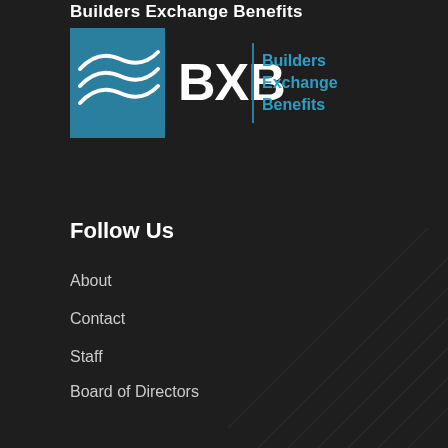Builders Exchange Benefits
[Figure (logo): BXB Builders Exchange Benefits logo with teal square containing white wave lines and BXB text in white with vertical bar separator and teal text reading Builders Exchange Benefits]
Follow Us
About
Contact
Staff
Board of Directors
Industry Resources
Privacy, Security Refund Policy
Pittsburgh